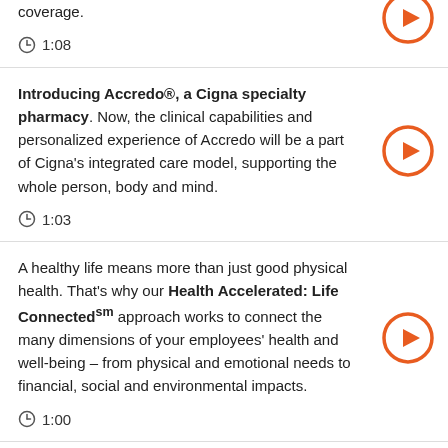coverage.
1:08
Introducing Accredo®, a Cigna specialty pharmacy. Now, the clinical capabilities and personalized experience of Accredo will be a part of Cigna's integrated care model, supporting the whole person, body and mind.
1:03
A healthy life means more than just good physical health. That's why our Health Accelerated: Life Connectedsm approach works to connect the many dimensions of your employees' health and well-being – from physical and emotional needs to financial, social and environmental impacts.
1:00